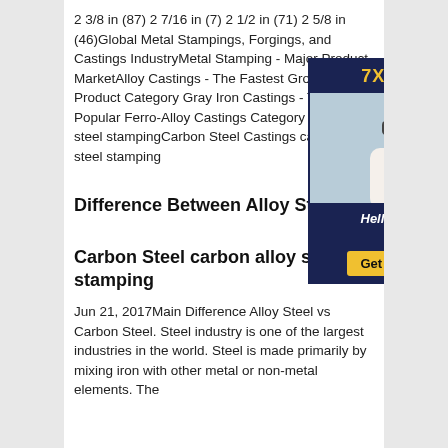2 3/8 in (87) 2 7/16 in (7) 2 1/2 in (71) 2 5/8 in (46)Global Metal Stampings, Forgings, and Castings IndustryMetal Stamping - Major Product MarketAlloy Castings - The Fastest Growing Product Category Gray Iron Castings - The Most Popular Ferro-Alloy Castings Category carbon alloy steel stampingCarbon Steel Castings carbon alloy steel stamping
[Figure (other): Advertisement banner with '7X24 Online' header, a customer service representative photo wearing a headset, and 'Hello, may I help you?' text with a 'Get Latest Price' yellow button, on a dark navy background.]
Difference Between Alloy Steel &
Carbon Steel carbon alloy steel stamping
Jun 21, 2017Main Difference Alloy Steel vs Carbon Steel. Steel industry is one of the largest industries in the world. Steel is made primarily by mixing iron with other metal or non-metal elements. The